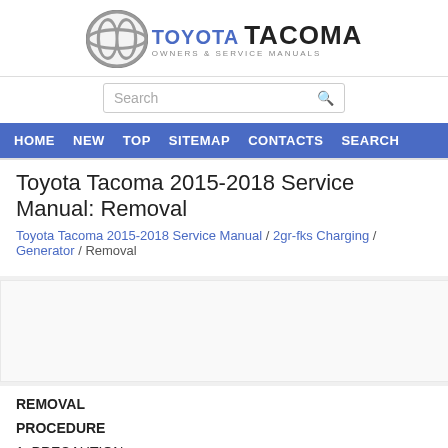[Figure (logo): Toyota Tacoma Owners & Service Manuals logo with Toyota oval emblem]
[Figure (screenshot): Search bar with placeholder text 'Search' and magnifying glass icon]
HOME  NEW  TOP  SITEMAP  CONTACTS  SEARCH
Toyota Tacoma 2015-2018 Service Manual: Removal
Toyota Tacoma 2015-2018 Service Manual / 2gr-fks Charging / Generator / Removal
REMOVAL
PROCEDURE
1. PRECAUTION
NOTICE: